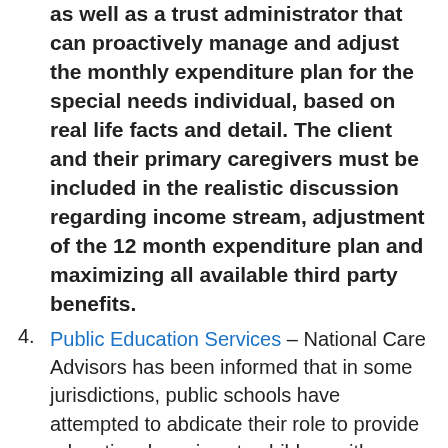as well as a trust administrator that can proactively manage and adjust the monthly expenditure plan for the special needs individual, based on real life facts and detail. The client and their primary caregivers must be included in the realistic discussion regarding income stream, adjustment of the 12 month expenditure plan and maximizing all available third party benefits.
Public Education Services – National Care Advisors has been informed that in some jurisdictions, public schools have attempted to abdicate their role to provide educational services to children with learning differences. For those children who have responsible parents and caregivers, it is quite possible for distance learning and therapy exercises to continue through [internet/distance learning]